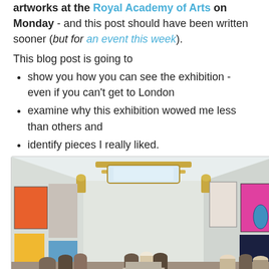artworks at the Royal Academy of Arts on Monday - and this post should have been written sooner (but for an event this week).
This blog post is going to
show you how you can see the exhibition - even if you can't get to London
examine why this exhibition wowed me less than others and
identify pieces I really liked.
[Figure (photo): Interior of the Royal Academy of Arts gallery showing a large ornate room with a white ceiling decorated with gold moldings and skylights. The walls are hung with numerous colorful artworks. Visitors are standing and walking around the gallery floor.]